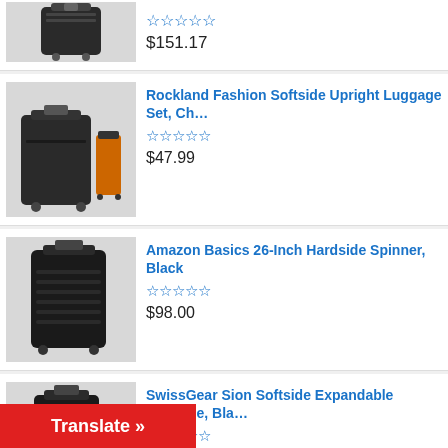$151.17
Rockland Fashion Softside Upright Luggage Set, Ch... $47.99
Amazon Basics 26-Inch Hardside Spinner, Black $98.00
SwissGear Sion Softside Expandable Luggage, Bla... $129.99
Best Selling
Vera Bradley Women's Cotton Small Travel Duffel B... $63.75
d Fashion Softside Upright Luggage Set, Ch...
Translate »